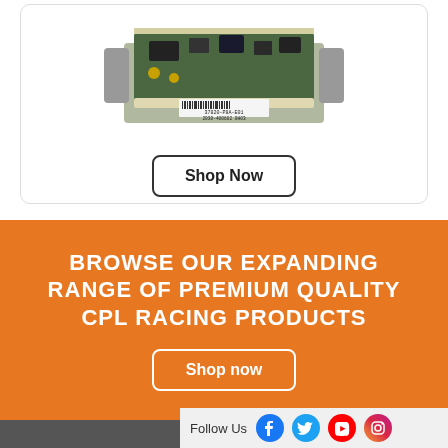[Figure (photo): Electronic control unit / ECU circuit board with connector pins, barcode label reading 37820-P8A-E01 and 2030-400602 0H03]
Shop Now
BROWSE OUR EXPANDING RANGE OF PREMIUM QUALITY CPL RACING PRODUCTS
Shop now
Follow Us